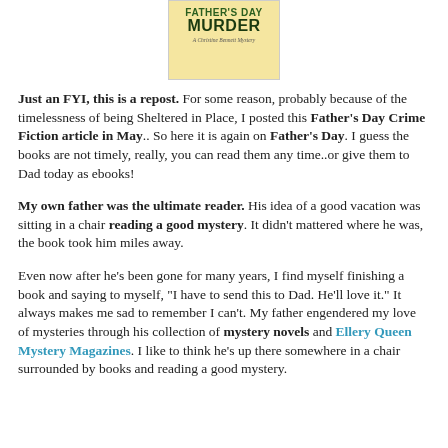[Figure (illustration): Book cover showing 'Father's Day Murder' in green and dark text on a yellow background, described as 'A Christine Bennett Mystery']
Just an FYI, this is a repost. For some reason, probably because of the timelessness of being Sheltered in Place, I posted this Father's Day Crime Fiction article in May.. So here it is again on Father's Day. I guess the books are not timely, really, you can read them any time..or give them to Dad today as ebooks!
My own father was the ultimate reader. His idea of a good vacation was sitting in a chair reading a good mystery. It didn't mattered where he was, the book took him miles away.
Even now after he's been gone for many years, I find myself finishing a book and saying to myself, "I have to send this to Dad. He'll love it." It always makes me sad to remember I can't. My father engendered my love of mysteries through his collection of mystery novels and Ellery Queen Mystery Magazines. I like to think he's up there somewhere in a chair surrounded by books and reading a good mystery.